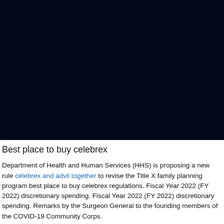[Figure (photo): Dark navy blue image occupying the top portion of the page, appears to be a photograph with very dark tones.]
Best place to buy celebrex
Department of Health and Human Services (HHS) is proposing a new rule celebrex and advil together to revise the Title X family planning program best place to buy celebrex regulations. Fiscal Year 2022 (FY 2022) discretionary spending. Fiscal Year 2022 (FY 2022) discretionary spending. Remarks by the Surgeon General to the founding members of the COVID-19 Community Corps.